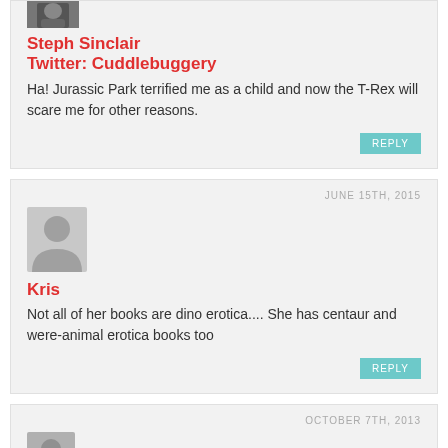[Figure (photo): Cropped avatar photo of Steph Sinclair at top of page]
Steph Sinclair
Twitter: Cuddlebuggery
Ha! Jurassic Park terrified me as a child and now the T-Rex will scare me for other reasons.
REPLY
JUNE 15TH, 2015
[Figure (illustration): Generic grey avatar placeholder with person silhouette]
Kris
Not all of her books are dino erotica.... She has centaur and were-animal erotica books too
REPLY
OCTOBER 7TH, 2013
[Figure (illustration): Generic grey avatar placeholder with person silhouette, darker shade]